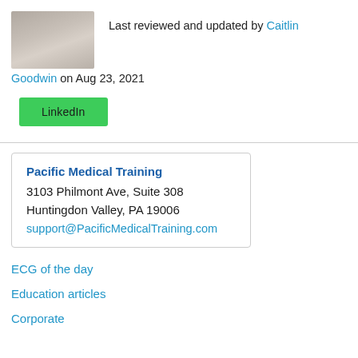[Figure (photo): Headshot photo of Caitlin Goodwin]
Last reviewed and updated by Caitlin Goodwin on Aug 23, 2021
LinkedIn
Pacific Medical Training
3103 Philmont Ave, Suite 308
Huntingdon Valley, PA 19006
support@PacificMedicalTraining.com
ECG of the day
Education articles
Corporate